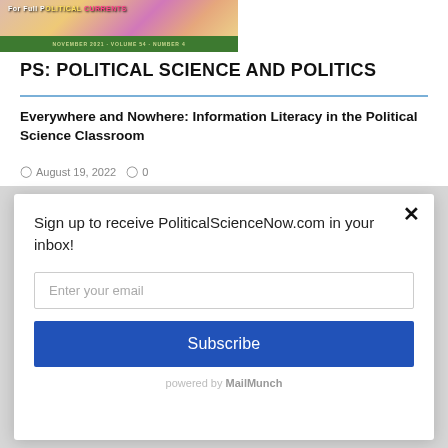[Figure (illustration): Partial view of a magazine cover for PS: Political Science and Politics journal, showing colorful graphics with text partially visible at top, and a green banner at bottom with publication info.]
PS: POLITICAL SCIENCE AND POLITICS
Everywhere and Nowhere: Information Literacy in the Political Science Classroom
August 19, 2022  0
Sign up to receive PoliticalScienceNow.com in your inbox!
Enter your email
Subscribe
powered by MailMunch